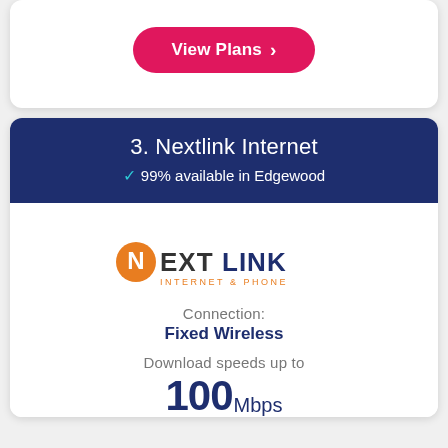[Figure (other): View Plans button with pink/red background and white text]
3. Nextlink Internet
✓ 99% available in Edgewood
[Figure (logo): Nextlink Internet & Phone logo with orange circle N and gray/dark text]
Connection:
Fixed Wireless
Download speeds up to
100Mbps